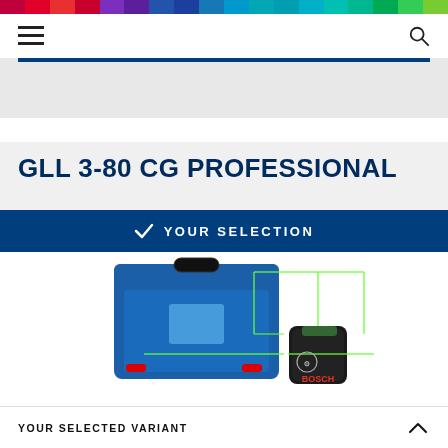[Figure (screenshot): Rainbow color bar at top of page with multiple colored segments]
Navigation bar with hamburger menu and search icon
[Figure (screenshot): Gray promo band with dark blue top border]
GLL 3-80 CG PROFESSIONAL
[Figure (screenshot): Dark blue YOUR SELECTION banner with checkmark, below it a product image of Bosch GLL 3-80 CG laser level in blue L-BOXX case with green laser lines and the device next to it]
YOUR SELECTED VARIANT